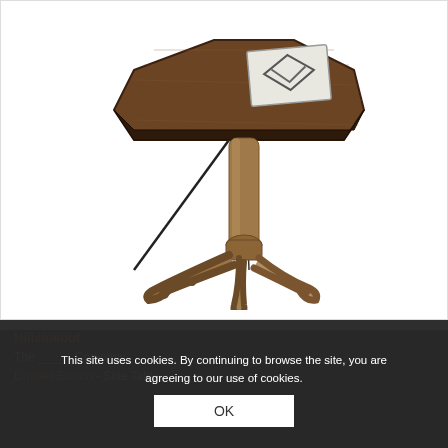[Figure (photo): A rustic wooden side table with a hexagonal/octagonal top featuring a decorative inlaid tile with a diamond/kite logo. The table has a natural branch-style wooden leg with multiple branch feet spreading out at the base, and dark metal rod supports connecting the top to the leg.]
Hillsideout
The _____ Company
Limited Edition - Side Table
This site uses cookies. By continuing to browse the site, you are agreeing to our use of cookies.
OK